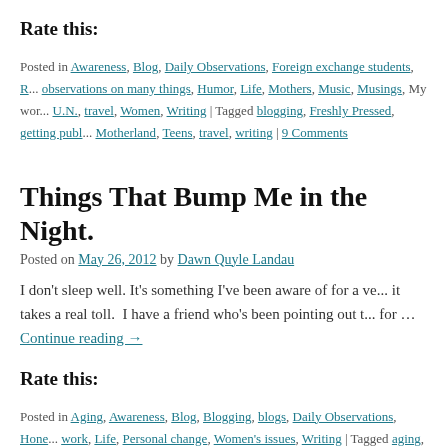Rate this:
Posted in Awareness, Blog, Daily Observations, Foreign exchange students, R... observations on many things, Humor, Life, Mothers, Music, Musings, My wor... U.N., travel, Women, Writing | Tagged blogging, Freshly Pressed, getting publ... Motherland, Teens, travel, writing | 9 Comments
Things That Bump Me in the Night.
Posted on May 26, 2012 by Dawn Quyle Landau
I don't sleep well. It's something I've been aware of for a ve... it takes a real toll.  I have a friend who's been pointing out t... for … Continue reading →
Rate this:
Posted in Aging, Awareness, Blog, Blogging, blogs, Daily Observations, Hone... work, Life, Personal change, Women's issues, Writing | Tagged aging, Awaren... the Motherland, women, writing | 18 Comments